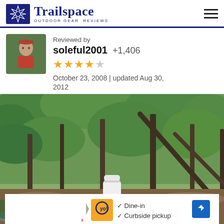Trailspace OUTDOOR GEAR REVIEWS
Reviewed by
soleful2001  +1,406
★★★★☆  October 23, 2008 | updated Aug 30, 2012
[Figure (photo): Outdoor forest photo showing a white bottle/container and metallic pot on the ground amid trees with dense green foliage]
✓ Dine-in  ✓ Curbside pickup